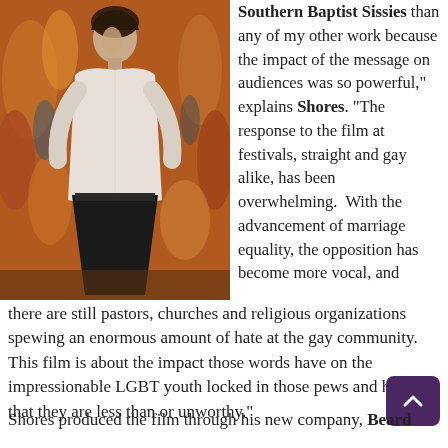[Figure (photo): A young man standing on stage, wearing a white shirt and dark pants, with a colorful stained-glass style backdrop behind him.]
Southern Baptist Sissies than any of my other work because the impact of the message on audiences was so powerful," explains Shores. "The response to the film at festivals, straight and gay alike, has been overwhelming.  With the advancement of marriage equality, the opposition has become more vocal, and there are still pastors, churches and religious organizations spewing an enormous amount of hate at the gay community.  This film is about the impact those words have on the impressionable LGBT youth locked in those pews and hearing that they are less than or unworthy."
Shores produced the film through his new company, Beard